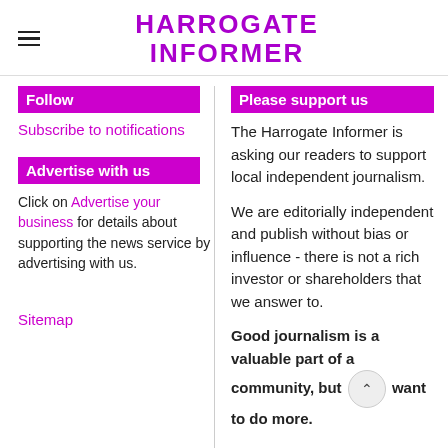HARROGATE INFORMER
Follow
Subscribe to notifications
Advertise with us
Click on Advertise your business for details about supporting the news service by advertising with us.
Sitemap
Please support us
The Harrogate Informer is asking our readers to support local independent journalism.
We are editorially independent and publish without bias or influence - there is not a rich investor or shareholders that we answer to.
Good journalism is a valuable part of a community, but want to do more.